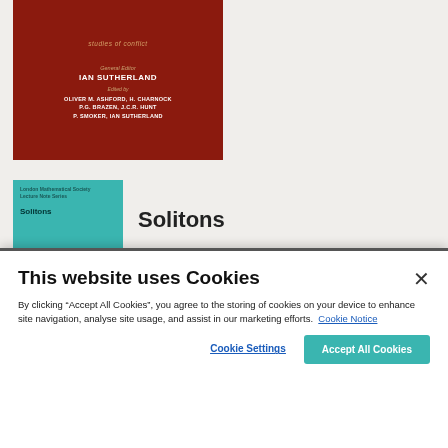[Figure (illustration): Red book cover with series title 'studies of conflict', General Editor IAN SUTHERLAND, Edited by OLIVER M. ASHFORD, H. CHARNOCK, P.G. BRAZEN, J.C.R. HUNT, P. SMOKER, IAN SUTHERLAND]
[Figure (illustration): Teal/turquoise book cover showing 'London Mathematical Society Lecture Note Series' with title 'Solitons']
Solitons
This website uses Cookies
By clicking “Accept All Cookies”, you agree to the storing of cookies on your device to enhance site navigation, analyse site usage, and assist in our marketing efforts. Cookie Notice
Cookie Settings
Accept All Cookies